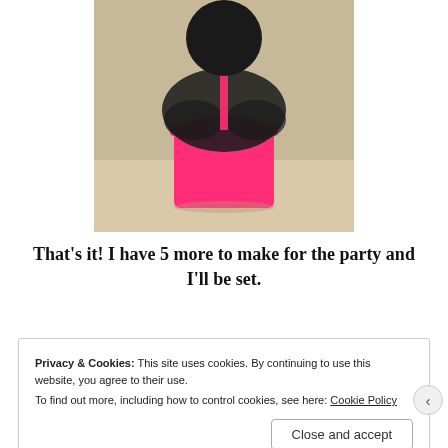[Figure (photo): A pink metal bucket filled with black tulle fabric and a black round balloon on a stick, with a pink ribbon. Craft/party decoration on a table.]
That's it! I have 5 more to make for the party and I'll be set.
Privacy & Cookies: This site uses cookies. By continuing to use this website, you agree to their use. To find out more, including how to control cookies, see here: Cookie Policy
Close and accept